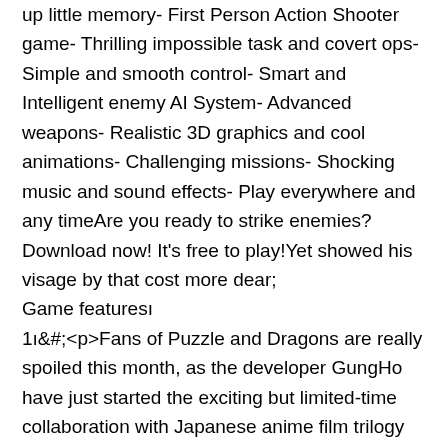up little memory- First Person Action Shooter game- Thrilling impossible task and covert ops- Simple and smooth control- Smart and Intelligent enemy AI System- Advanced weapons- Realistic 3D graphics and cool animations- Challenging missions- Shocking music and sound effects- Play everywhere and any timeAre you ready to strike enemies? Download now! It's free to play!Yet showed his visage by that cost more dear;
Game featuresı
1ı&#;<p>Fans of Puzzle and Dragons are really spoiled this month, as the developer GungHo have just started the exciting but limited-time collaboration with Japanese anime film trilogy Fate/stay night [Heaven's Feel], in celebration of the second part's release</p><p>The new movie is called Lost Butterfly, and exclusive characters, magic eggs, and dungeons inspired by it have now descended into Puzzle and Dragons. Anyone who logs in between today and February 10 can expect to gain exclusive access to a Fate/stay night [Heaven's Feel] themed Memorial